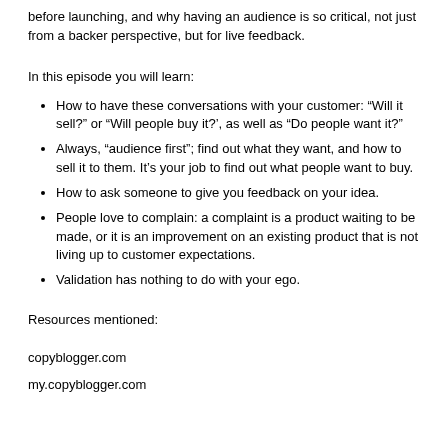before launching, and why having an audience is so critical, not just from a backer perspective, but for live feedback.
In this episode you will learn:
How to have these conversations with your customer: “Will it sell?” or “Will people buy it?’, as well as “Do people want it?”
Always, “audience first”; find out what they want, and how to sell it to them. It’s your job to find out what people want to buy.
How to ask someone to give you feedback on your idea.
People love to complain: a complaint is a product waiting to be made, or it is an improvement on an existing product that is not living up to customer expectations.
Validation has nothing to do with your ego.
Resources mentioned:
copyblogger.com
my.copyblogger.com